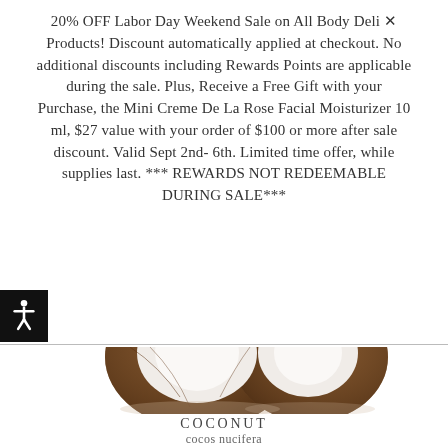20% OFF Labor Day Weekend Sale on All Body Deli Products! Discount automatically applied at checkout. No additional discounts including Rewards Points are applicable during the sale. Plus, Receive a Free Gift with your Purchase, the Mini Creme De La Rose Facial Moisturizer 10 ml, $27 value with your order of $100 or more after sale discount. Valid Sept 2nd- 6th. Limited time offer, while supplies last. *** REWARDS NOT REDEEMABLE DURING SALE***
[Figure (photo): Two halves of a coconut shell with white flesh visible, photographed on a white background]
COCONUT
cocos nucifera